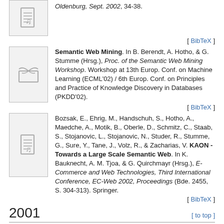Oldenburg, Sept. 2002, 34-38.
[ BibTeX ]
Semantic Web Mining. In B. Berendt, A. Hotho, & G. Stumme (Hrsg.), Proc. of the Semantic Web Mining Workshop. Workshop at 13th Europ. Conf. on Machine Learning (ECML'02) / 6th Europ. Conf. on Principles and Practice of Knowledge Discovery in Databases (PKDD'02).
[ BibTeX ]
Bozsak, E., Ehrig, M., Handschuh, S., Hotho, A., Maedche, A., Motik, B., Oberle, D., Schmitz, C., Staab, S., Stojanovic, L., Stojanovic, N., Studer, R., Stumme, G., Sure, Y., Tane, J., Volz, R., & Zacharias, V. KAON - Towards a Large Scale Semantic Web. In K. Bauknecht, A. M. Tjoa, & G. Quirchmayr (Hrsg.), E-Commerce and Web Technologies, Third International Conference, EC-Web 2002, Proceedings (Bde. 2455, S. 304-313). Springer.
[ BibTeX ]
2001
[ to top ]
Semantic Web Mining. In G. Stumme, A. Hotho, & B. Berendt (Hrsg.), Proc. of the Semantic Web Mining